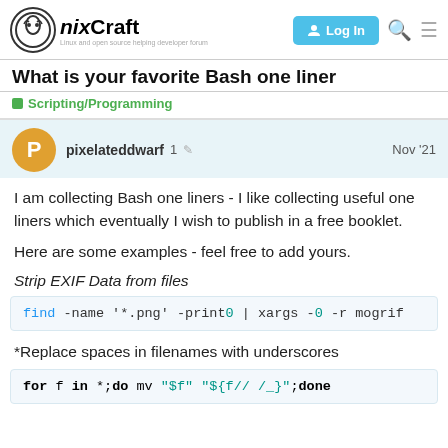nixCraft — Log In
What is your favorite Bash one liner
Scripting/Programming
pixelateddwarf  1  Nov '21
I am collecting Bash one liners - I like collecting useful one liners which eventually I wish to publish in a free booklet.
Here are some examples - feel free to add yours.
Strip EXIF Data from files
find -name '*.png' -print0 | xargs -0 -r mogrif
*Replace spaces in filenames with underscores
for f in *;do mv "$f" "${f// /_}";done